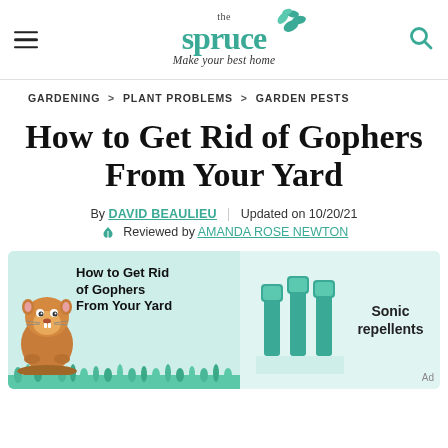[Figure (logo): The Spruce logo with teal text and leaf illustration, tagline 'Make your best home']
GARDENING > PLANT PROBLEMS > GARDEN PESTS
How to Get Rid of Gophers From Your Yard
By DAVID BEAULIEU | Updated on 10/20/21
Reviewed by AMANDA ROSE NEWTON
[Figure (infographic): Infographic showing how to get rid of gophers from your yard, featuring an illustrated gopher on left and sonic repellent stakes on right, teal background]